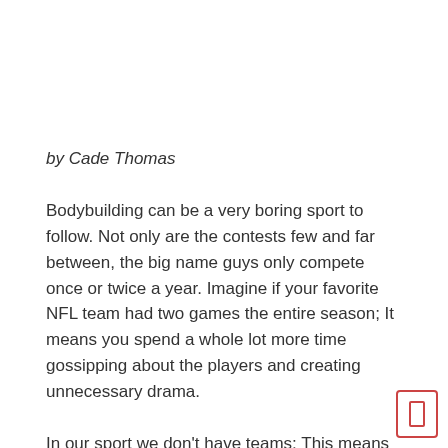by Cade Thomas
Bodybuilding can be a very boring sport to follow. Not only are the contests few and far between, the big name guys only compete once or twice a year. Imagine if your favorite NFL team had two games the entire season; It means you spend a whole lot more time gossipping about the players and creating unnecessary drama.
In our sport we don't have teams; This means that there are no trades or shocking releases to speak of. Well, actually that is what you would THINK it meant. In actuality, bodybuilding fans have decided that supplement